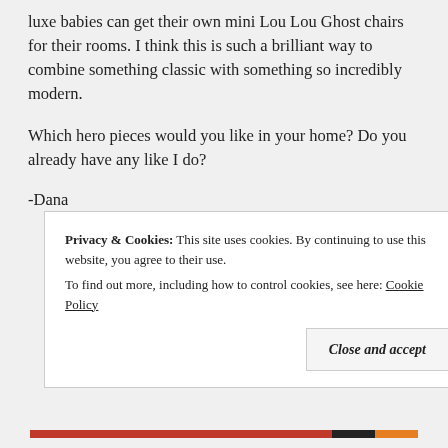luxe babies can get their own mini Lou Lou Ghost chairs for their rooms. I think this is such a brilliant way to combine something classic with something so incredibly modern.
Which hero pieces would you like in your home? Do you already have any like I do?
-Dana
Privacy & Cookies:  This site uses cookies. By continuing to use this website, you agree to their use.
To find out more, including how to control cookies, see here: Cookie Policy
Close and accept